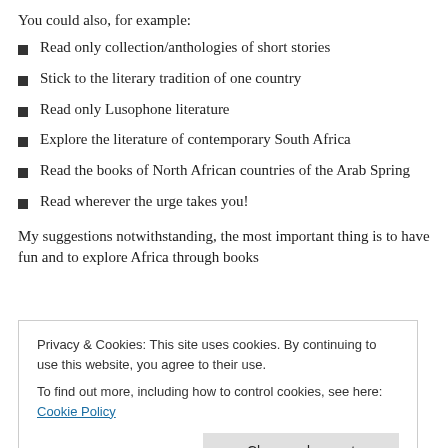You could also, for example:
Read only collection/anthologies of short stories
Stick to the literary tradition of one country
Read only Lusophone literature
Explore the literature of contemporary South Africa
Read the books of North African countries of the Arab Spring
Read wherever the urge takes you!
My suggestions notwithstanding, the most important thing is to have fun and to explore Africa through books
Privacy & Cookies: This site uses cookies. By continuing to use this website, you agree to their use.
To find out more, including how to control cookies, see here: Cookie Policy
2. E-books and audio books are allowed.